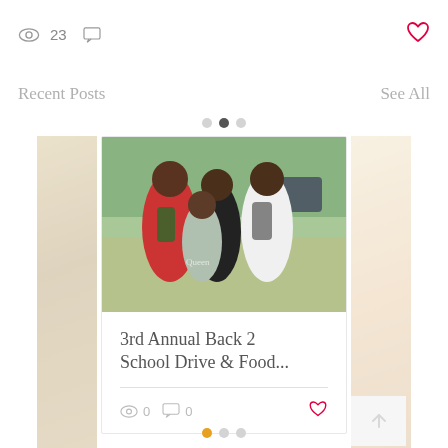[Figure (screenshot): Top bar with eye icon showing 23 views, chat icon, and red heart icon on the right]
Recent Posts
See All
[Figure (photo): Photo of group of young girls smiling with backpacks at an outdoor event]
3rd Annual Back 2 School Drive & Food...
0   0